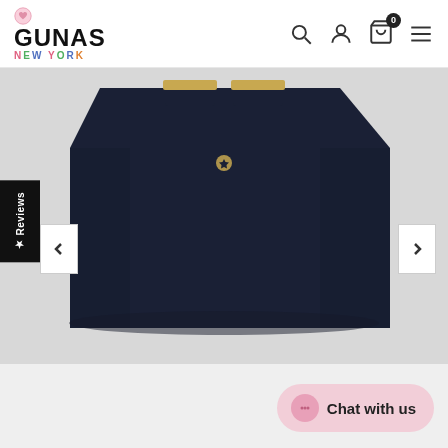[Figure (logo): GUNAS NEW YORK logo with pink heart icon and colorful NEW YORK text]
[Figure (screenshot): E-commerce navigation icons: search, profile, shopping bag (0 items), hamburger menu]
[Figure (photo): Close-up photo of a dark navy blue structured handbag with gold hardware handles on grey background]
Reviews
Chat with us